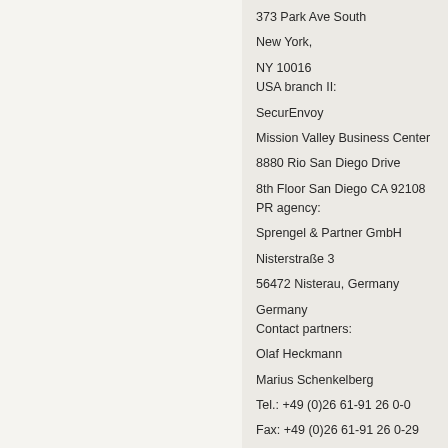373 Park Ave South
New York,
NY 10016
USA branch II:
SecurEnvoy
Mission Valley Business Center
8880 Rio San Diego Drive
8th Floor San Diego CA 92108
PR agency:
Sprengel & Partner GmbH
Nisterstraße 3
56472 Nisterau, Germany
Germany
Contact partners:
Olaf Heckmann
Marius Schenkelberg
Tel.: +49 (0)26 61-91 26 0-0
Fax: +49 (0)26 61-91 26 0-29
E-mail: oh(at)sprengel-pr(dot)com
ms(at)sprengel-pr(dot)com